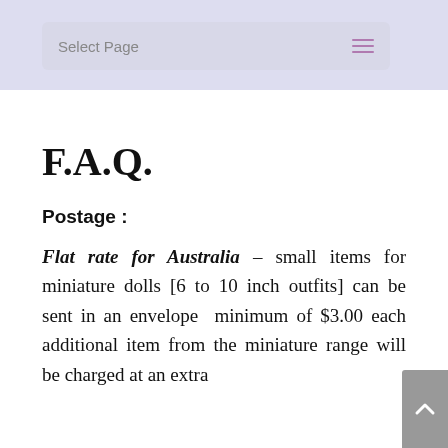Select Page
F.A.Q.
Postage :
Flat rate for Australia – small items for miniature dolls [6 to 10 inch outfits] can be sent in an envelope  minimum of $3.00 each additional item from the miniature range will be charged at an extra